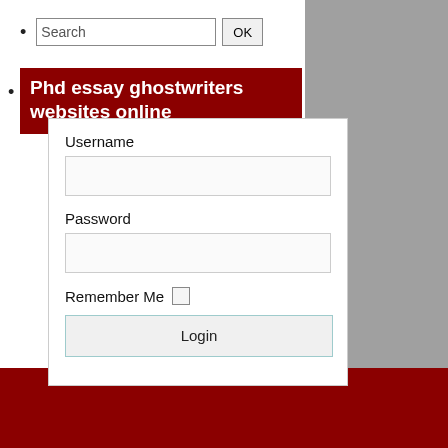Search [input] OK [button]
Phd essay ghostwriters websites online
Username
Password
Remember Me
Login